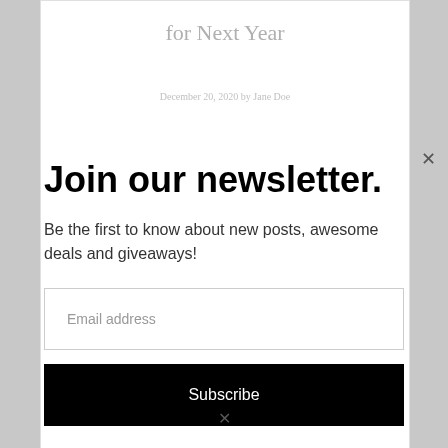for Next Year
Join our newsletter.
Be the first to know about new posts, awesome deals and giveaways!
Email address
Subscribe